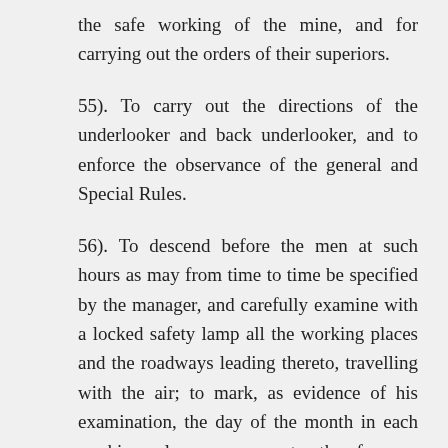the safe working of the mine, and for carrying out the orders of their superiors.
55). To carry out the directions of the underlooker and back underlooker, and to enforce the observance of the general and Special Rules.
56). To descend before the men at such hours as may from time to time be specified by the manager, and carefully examine with a locked safety lamp all the working places and the roadways leading thereto, travelling with the air; to mark, as evidence of his examination, the day of the month in each working place, as near to the face as possible; where gas or other danger is detected to fence off the place and fix a danger